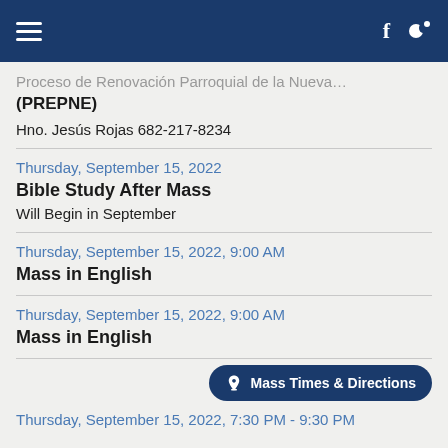Header bar with hamburger menu, Facebook icon, and bird icon
Proceso de Renovacion Parroquial de la Nueva (PREPNE)
Hno. Jesús Rojas 682-217-8234
Thursday, September 15, 2022
Bible Study After Mass
Will Begin in September
Thursday, September 15, 2022, 9:00 AM
Mass in English
Thursday, September 15, 2022, 9:00 AM
Mass in English
Thursday, September 15, 2022, 7:30 PM - 9:30 PM